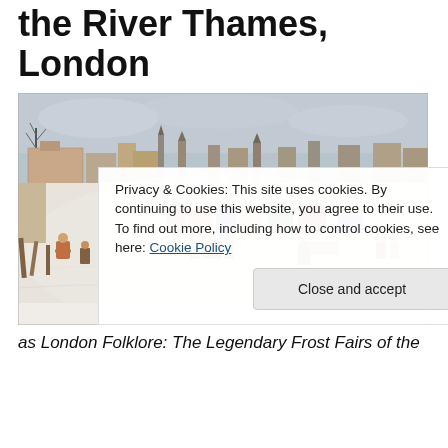the River Thames, London
[Figure (illustration): Historical painting of a Frost Fair on the frozen River Thames in London. People are walking and gathering on the ice, with colorful tents and stalls visible, and the London skyline in the background under a grey winter sky.]
Privacy & Cookies: This site uses cookies. By continuing to use this website, you agree to their use.
To find out more, including how to control cookies, see here: Cookie Policy
Close and accept
as London Folklore: The Legendary Frost Fairs of the